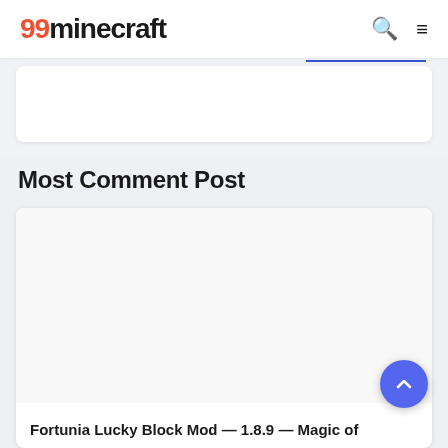99minecraft
Most Comment Post
[Figure (screenshot): White card area with image placeholder for a blog post]
Fortunia Lucky Block Mod — 1.8.9 — Magic of